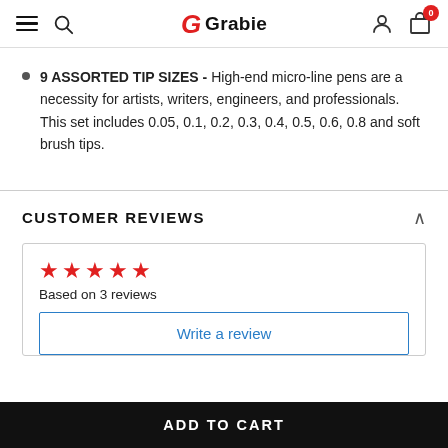Grabie (navigation header with menu, search, logo, user account, and cart icons)
9 ASSORTED TIP SIZES - High-end micro-line pens are a necessity for artists, writers, engineers, and professionals. This set includes 0.05, 0.1, 0.2, 0.3, 0.4, 0.5, 0.6, 0.8 and soft brush tips.
CUSTOMER REVIEWS
★★★★★ Based on 3 reviews
Write a review
ADD TO CART